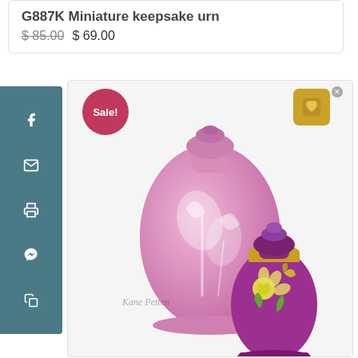G887K Miniature keepsake urn
$85.00 $69.00
[Figure (photo): Product photo showing two decorative miniature keepsake urns: a larger pink urn with floral motif on the left and a smaller purple urn with butterfly and flower design on the right. A 'Sale!' badge in pink is visible top-left. A gold heart-shaped wishlist button is top-right. Social sharing icons (Facebook, email, print, Messenger, copy) on left sidebar. Kane Petten watermark visible.]